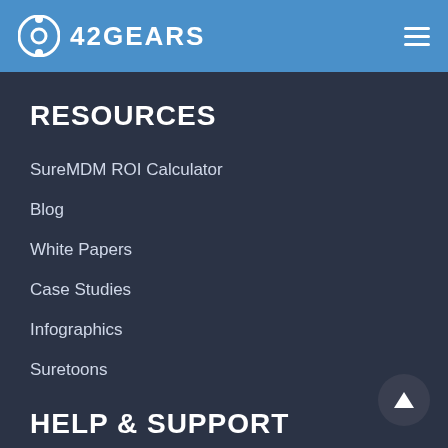42GEARS
RESOURCES
SureMDM ROI Calculator
Blog
White Papers
Case Studies
Infographics
Suretoons
HELP & SUPPORT